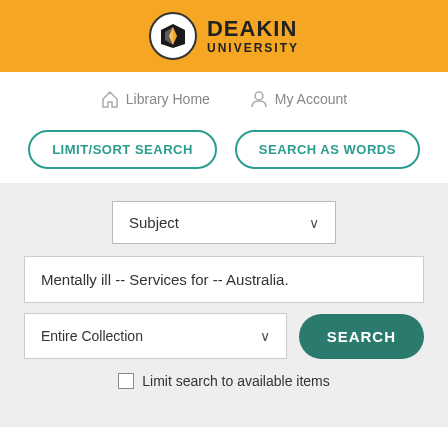[Figure (logo): Deakin University logo with orange header bar, shield icon in white circle, and bold DEAKIN UNIVERSITY text]
Library Home
My Account
LIMIT/SORT SEARCH
SEARCH AS WORDS
Subject
Mentally ill -- Services for -- Australia.
Entire Collection
SEARCH
Limit search to available items